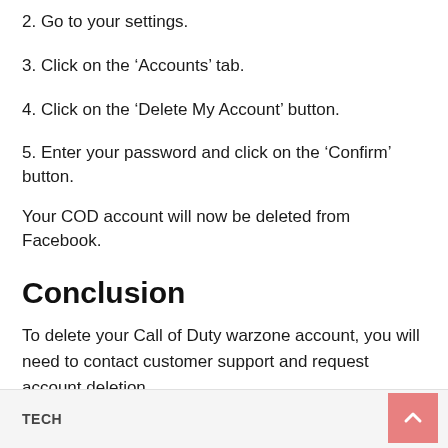2. Go to your settings.
3. Click on the ‘Accounts’ tab.
4. Click on the ‘Delete My Account’ button.
5. Enter your password and click on the ‘Confirm’ button.
Your COD account will now be deleted from Facebook.
Conclusion
To delete your Call of Duty warzone account, you will need to contact customer support and request account deletion.
TECH